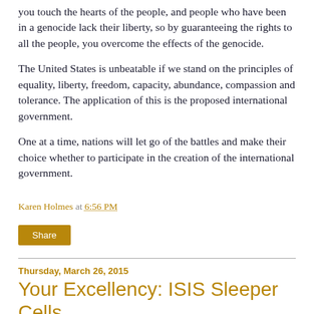you touch the hearts of the people, and people who have been in a genocide lack their liberty, so by guaranteeing the rights to all the people, you overcome the effects of the genocide.
The United States is unbeatable if we stand on the principles of equality, liberty, freedom, capacity, abundance, compassion and tolerance. The application of this is the proposed international government.
One at a time, nations will let go of the battles and make their choice whether to participate in the creation of the international government.
Karen Holmes at 6:56 PM
Share
Thursday, March 26, 2015
Your Excellency: ISIS Sleeper Cells
26 March, 2015